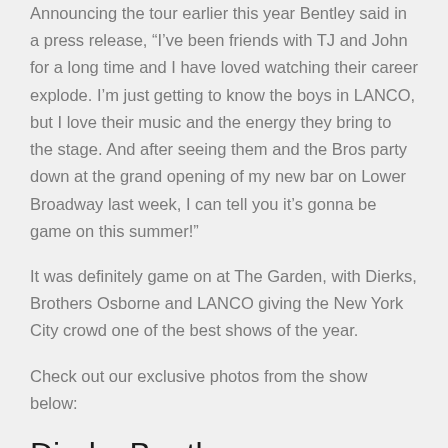Announcing the tour earlier this year Bentley said in a press release, “I’ve been friends with TJ and John for a long time and I have loved watching their career explode. I’m just getting to know the boys in LANCO, but I love their music and the energy they bring to the stage. And after seeing them and the Bros party down at the grand opening of my new bar on Lower Broadway last week, I can tell you it’s gonna be game on this summer!”
It was definitely game on at The Garden, with Dierks, Brothers Osborne and LANCO giving the New York City crowd one of the best shows of the year.
Check out our exclusive photos from the show below:
Dierks Bentley